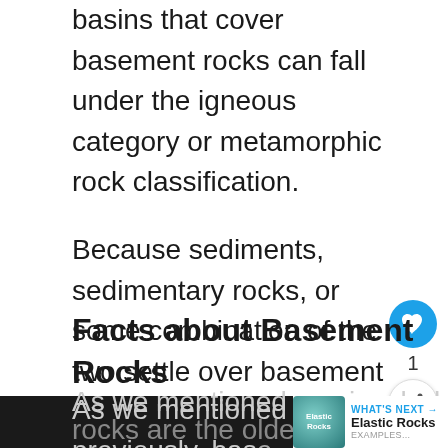basins that cover basement rocks can fall under the igneous category or metamorphic rock classification.
Because sediments, sedimentary rocks, or some combination of the two settle over basement rocks, geologists sometimes call them “sedimentary cover” or just “cover” for short.
Facts about Basement Rocks
As we mentioned previously, basement rocks are the oldest kind of metamorphic